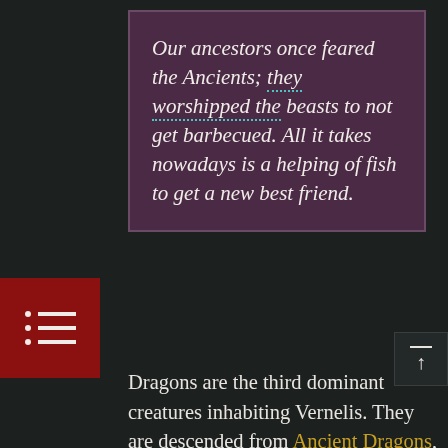Our ancestors once feared the Ancients; they worshipped the beasts to not get barbecued. All it takes nowadays is a helping of fish to get a new best friend.
[Figure (illustration): Red sidebar icon showing a bulleted list symbol (three rows each with a dot and a line), positioned on the left side of the page.]
Dragons are the third dominant creatures inhabiting Vernelis. They are descended from Ancient Dragons, and while they are still respected by much of the world, they do not carry the same divine status that is attributed to the Celestial Dragons or other